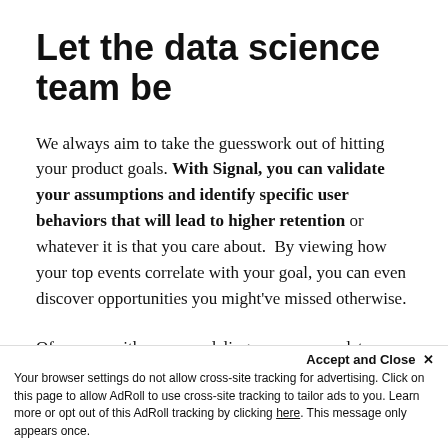Let the data science team be
We always aim to take the guesswork out of hitting your product goals. With Signal, you can validate your assumptions and identify specific user behaviors that will lead to higher retention or whatever it is that you care about.  By viewing how your top events correlate with your goal, you can even discover opportunities you might've missed otherwise.
Of course, with some modeling, you or your data science team could crunch these numbers and find strong correlations. But with Signal, you...
Accept and Close ✕
Your browser settings do not allow cross-site tracking for advertising. Click on this page to allow AdRoll to use cross-site tracking to tailor ads to you. Learn more or opt out of this AdRoll tracking by clicking here. This message only appears once.